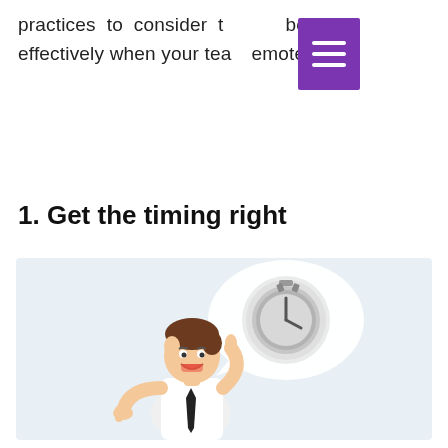practices to consider to collaborate effectively when your team is remote.
1. Get the timing right
[Figure (illustration): Cartoon illustration of a smiling businessman in a white shirt and black tie, pointing upward with one hand and making a thumbs-up with the other. Above him is a speech bubble containing a stopwatch/timer icon. The background is light blue.]